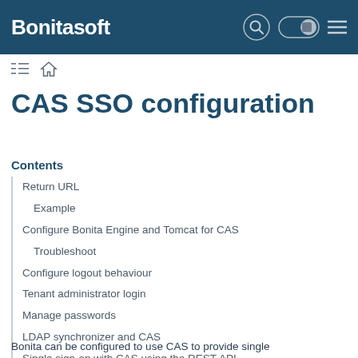Bonitasoft
CAS SSO configuration
Contents
Return URL
Example
Configure Bonita Engine and Tomcat for CAS
Troubleshoot
Configure logout behaviour
Tenant administrator login
Manage passwords
LDAP synchronizer and CAS
Single sign-on with CAS using the REST API
Bonita can be configured to use CAS to provide single